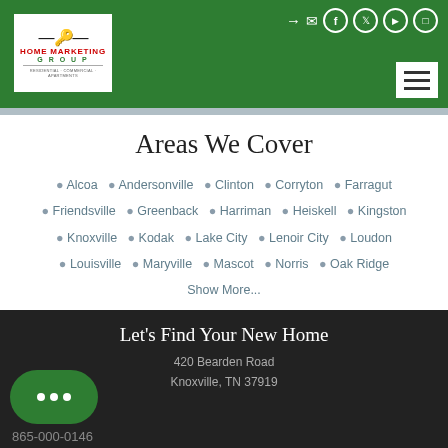[Figure (logo): Home Marketing Group logo with key icon, red text and green text on white background]
Home Marketing Group - navigation header with social icons and menu button
Areas We Cover
Alcoa  Andersonville  Clinton  Corryton  Farragut  Friendsville  Greenback  Harriman  Heiskell  Kingston  Knoxville  Kodak  Lake City  Lenoir City  Loudon  Louisville  Maryville  Mascot  Norris  Oak Ridge  Show More...
Let's Find Your New Home
420 Bearden Road
Knoxville, TN 37919
865-000-0146